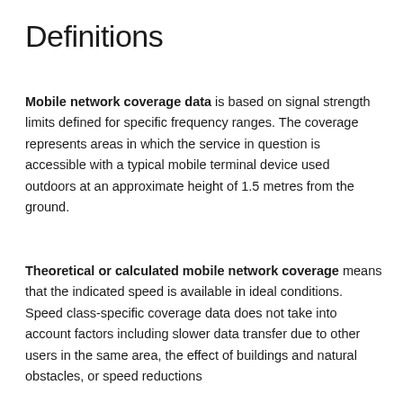Definitions
Mobile network coverage data is based on signal strength limits defined for specific frequency ranges. The coverage represents areas in which the service in question is accessible with a typical mobile terminal device used outdoors at an approximate height of 1.5 metres from the ground.
Theoretical or calculated mobile network coverage means that the indicated speed is available in ideal conditions. Speed class-specific coverage data does not take into account factors including slower data transfer due to other users in the same area, the effect of buildings and natural obstacles, or speed reductions